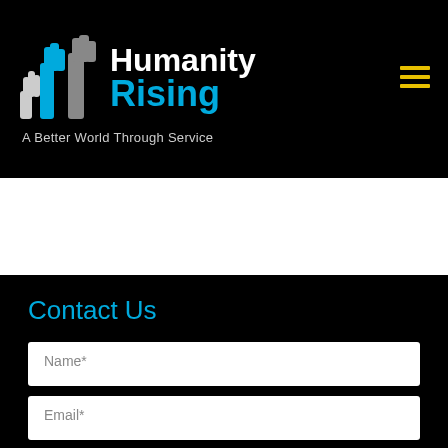[Figure (logo): Humanity Rising logo with hands icon, name, and tagline 'A Better World Through Service']
Contact Us
Name*
Email*